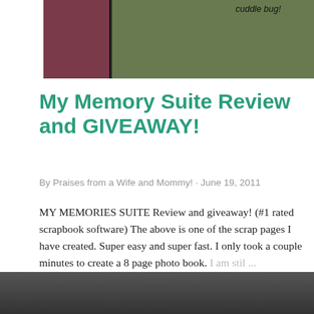[Figure (photo): Top portion showing a woman with a child outdoors on green background, with maroon block on left. Partial view cropped at top.]
cuddle bug!
My Memory Suite Review and GIVEAWAY!
By Praises from a Wife and Mommy! · June 19, 2011
MY MEMORIES SUITE Review and giveaway!  (#1 rated scrapbook software)  The above is one of the scrap pages I have created.  Super easy and super fast.  I only took a couple minutes to create a 8 page photo book.  I am stil ...
SHARE   44 COMMENTS   READ MORE
[Figure (photo): Bottom partial image, dark/indoor scene, cropped at bottom of page.]